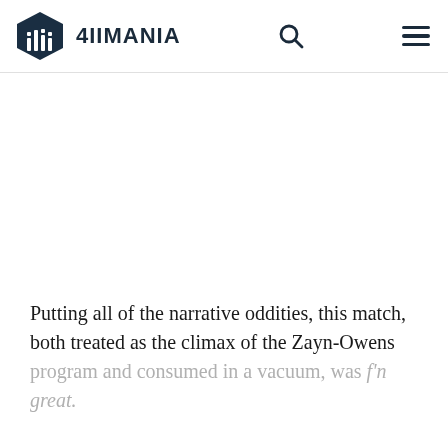4IIMANIA
Putting all of the narrative oddities, this match, both treated as the climax of the Zayn-Owens program and consumed in a vacuum, was f'n great.